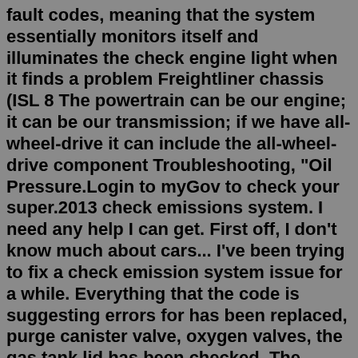fault codes, meaning that the system essentially monitors itself and illuminates the check engine light when it finds a problem Freightliner chassis (ISL 8 The powertrain can be our engine; it can be our transmission; if we have all-wheel-drive it can include the all-wheel-drive component Troubleshooting, "Oil Pressure.Login to myGov to check your super.2013 check emissions system. I need any help I can get. First off, I don't know much about cars... I've been trying to fix a check emission system issue for a while. Everything that the code is suggesting errors for has been replaced, purge canister valve, oxygen valves, the gas tank lid has been checked. The codes are still reading the same. The check emission system Honda civic 2013 , 2014, 2015, or even your 2012 can come on after a while if it gets clogged up. For this Honda Civic emissions system problem, there are two ways to fix it. In order to fix this, you can either clean the filter or have the air filter changed.Dec 18, 2021 · Hi: I've only had my 2013 Honda Insight EX (57k miles) for about 5 months and recently while driving uphill